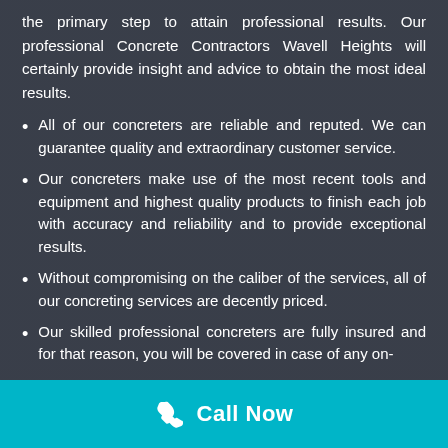the primary step to attain professional results. Our professional Concrete Contractors Wavell Heights will certainly provide insight and advice to obtain the most ideal results.
All of our concreters are reliable and reputed. We can guarantee quality and extraordinary customer service.
Our concreters make use of the most recent tools and equipment and highest quality products to finish each job with accuracy and reliability and to provide exceptional results.
Without compromising on the caliber of the services, all of our concreting services are decently priced.
Our skilled professional concreters are fully insured and for that reason, you will be covered in case of any on-
Call Now